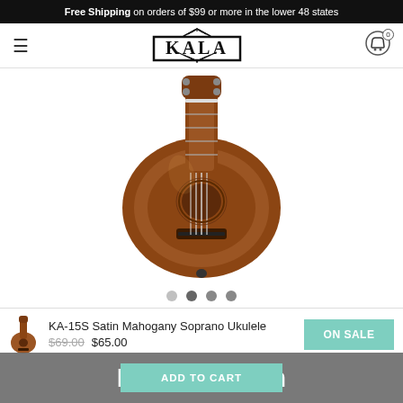Free Shipping on orders of $99 or more in the lower 48 states
[Figure (logo): KALA brand logo with decorative spiky border motif and hamburger menu; shopping cart icon with 0 badge]
[Figure (photo): Kala KA-15S Satin Mahogany Soprano Ukulele product photo, front view of the body showing wood grain, strings, and bridge]
[Figure (other): Four dot carousel indicators, second dot active]
[Figure (photo): Small thumbnail of ukulele]
KA-15S Satin Mahogany Soprano Ukulele
$69.00  $65.00  ON SALE
KA-15S Satin
ADD TO CART